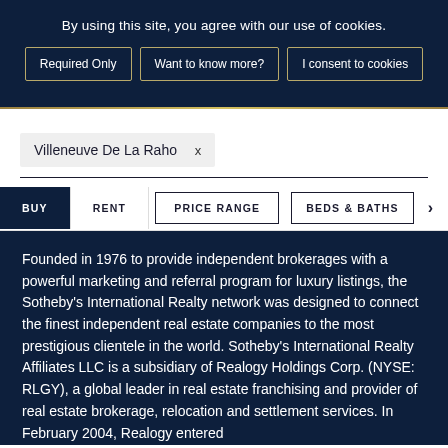By using this site, you agree with our use of cookies.
Required Only
Want to know more?
I consent to cookies
Villeneuve De La Raho ×
BUY
RENT
PRICE RANGE
BEDS & BATHS
Founded in 1976 to provide independent brokerages with a powerful marketing and referral program for luxury listings, the Sotheby's International Realty network was designed to connect the finest independent real estate companies to the most prestigious clientele in the world. Sotheby's International Realty Affiliates LLC is a subsidiary of Realogy Holdings Corp. (NYSE: RLGY), a global leader in real estate franchising and provider of real estate brokerage, relocation and settlement services. In February 2004, Realogy entered